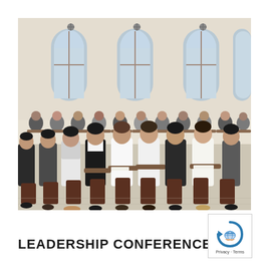[Figure (photo): A large conference or training room filled with people seated at individual desks with attached writing surfaces. Participants, mostly women in formal attire, are taking notes. The room has arched windows with wooden frames, ceiling fans, and light-colored walls. The setting appears to be in Southeast Asia.]
LEADERSHIP CONFERENCES
[Figure (logo): A circular logo with blue and grey colors showing stylized hands and a globe, with text 'Privacy - Terms' below.]